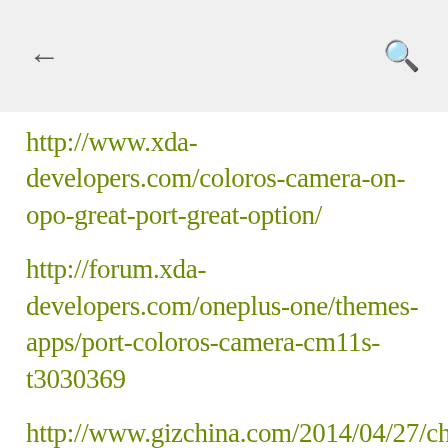← [back] [search]
http://www.xda-developers.com/coloros-camera-on-opo-great-port-great-option/
http://forum.xda-developers.com/oneplus-one/themes-apps/port-coloros-camera-cm11s-t3030369
http://www.gizchina.com/2014/04/27/china-regulatory-board-oneplus-owned-oppo/